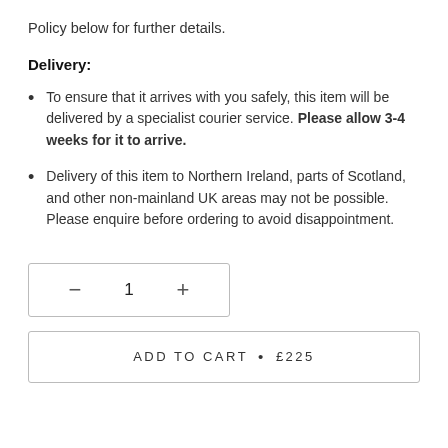Policy below for further details.
Delivery:
To ensure that it arrives with you safely, this item will be delivered by a specialist courier service. Please allow 3-4 weeks for it to arrive.
Delivery of this item to Northern Ireland, parts of Scotland, and other non-mainland UK areas may not be possible. Please enquire before ordering to avoid disappointment.
— 1 +
ADD TO CART • £225